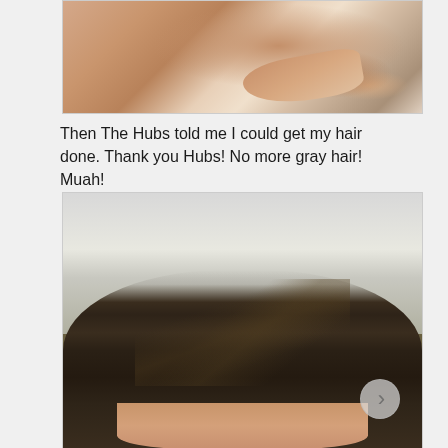[Figure (photo): Close-up photo of a hand resting against a white surface, showing wrinkled skin and fingernails.]
Then The Hubs told me I could get my hair done. Thank you Hubs! No more gray hair!  Muah!
[Figure (photo): Selfie photo showing the top of a person's head with dark brown hair, taken outdoors with a green field and building visible in the background.]